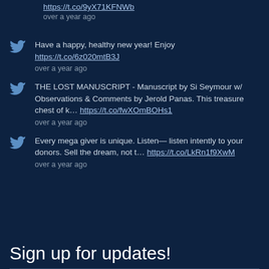https://t.co/9yX71KFNWb
over a year ago
Have a happy, healthy new year! Enjoy https://t.co/6z020mtB3J
over a year ago
THE LOST MANUSCRIPT - Manuscript by Si Seymour w/ Observations & Comments by Jerold Panas. This treasure chest of k… https://t.co/fwXOmBOHs1
over a year ago
Every mega giver is unique. Listen— listen intently to your donors. Sell the dream, not t… https://t.co/LkRn1f9XwM
over a year ago
Sign up for updates!